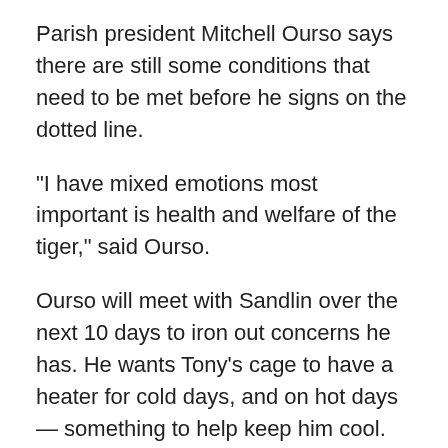Parish president Mitchell Ourso says there are still some conditions that need to be met before he signs on the dotted line.
"I have mixed emotions most important is health and welfare of the tiger," said Ourso.
Ourso will meet with Sandlin over the next 10 days to iron out concerns he has. He wants Tony's cage to have a heater for cold days, and on hot days — something to help keep him cool.
Both sides gathered more than 3,000 signatures from supporters. But in the end, Sandlin says Tony is here to stay.
After sitting down with the parish president, Sandlin now has to get a permit from the Department of Wildlife and Fisheries.